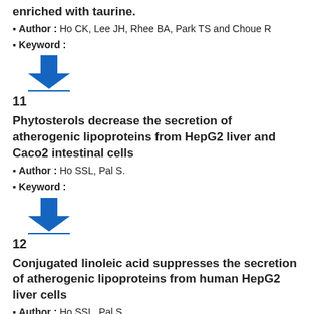enriched with taurine.
Author : Ho CK, Lee JH, Rhee BA, Park TS and Choue R
Keyword :
[Figure (other): Blue download arrow icon with underline]
11
Phytosterols decrease the secretion of atherogenic lipoproteins from HepG2 liver and Caco2 intestinal cells
Author : Ho SSL, Pal S.
Keyword :
[Figure (other): Blue download arrow icon with underline]
12
Conjugated linoleic acid suppresses the secretion of atherogenic lipoproteins from human HepG2 liver cells
Author : Ho SSL, Pal S.